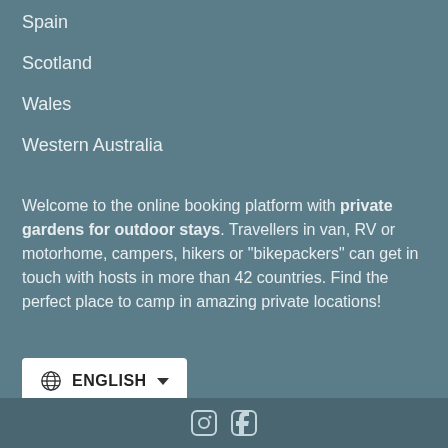Spain
Scotland
Wales
Western Australia
Welcome to the online booking platform with private gardens for outdoor stays. Travellers in van, RV or motorhome, campers, hikers or "bikepackers" can get in touch with hosts in more than 42 countries. Find the perfect place to camp in amazing private locations!
[Figure (other): Language selector button with globe icon showing ENGLISH with dropdown arrow]
Footer bar with social media icons